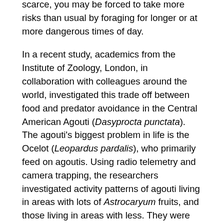scarce, you may be forced to take more risks than usual by foraging for longer or at more dangerous times of day.
In a recent study, academics from the Institute of Zoology, London, in collaboration with colleagues around the world, investigated this trade off between food and predator avoidance in the Central American Agouti (Dasyprocta punctata). The agouti's biggest problem in life is the Ocelot (Leopardus pardalis), who primarily feed on agoutis. Using radio telemetry and camera trapping, the researchers investigated activity patterns of agouti living in areas with lots of Astrocaryum fruits, and those living in areas with less. They were able to generate an enormous dataset – over 30,000 camera trap records of agoutis, with a further 50 individuals radio collared and tracked!